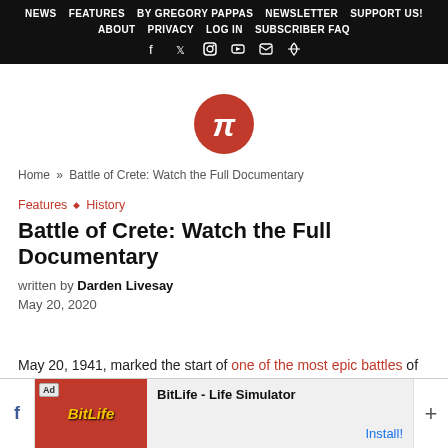NEWS  FEATURES  BY GREGORY PAPPAS  NEWSLETTER  SUPPORT US!  ABOUT  PRIVACY  LOG IN  SUBSCRIBER FAQ
[Figure (logo): Red circular logo with white pi symbol]
Home » Battle of Crete: Watch the Full Documentary
Features ◆ History
Battle of Crete: Watch the Full Documentary
written by Darden Livesay
May 20, 2020
May 20, 1941, marked the start of one of the most epic battles of
[Figure (screenshot): Ad banner: BitLife - Life Simulator with Install button]